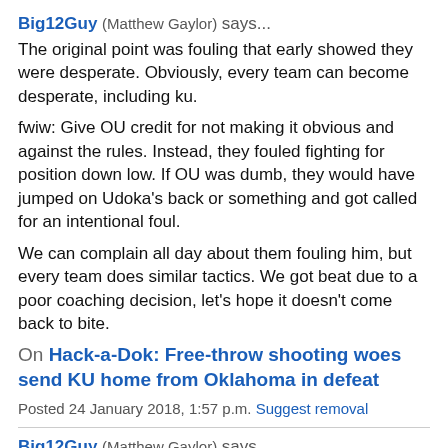Big12Guy (Matthew Gaylor) says...
The original point was fouling that early showed they were desperate. Obviously, every team can become desperate, including ku.
fwiw: Give OU credit for not making it obvious and against the rules. Instead, they fouled fighting for position down low. If OU was dumb, they would have jumped on Udoka's back or something and got called for an intentional foul.
We can complain all day about them fouling him, but every team does similar tactics. We got beat due to a poor coaching decision, let's hope it doesn't come back to bite.
On Hack-a-Dok: Free-throw shooting woes send KU home from Oklahoma in defeat
Posted 24 January 2018, 1:57 p.m. Suggest removal
Big12Guy (Matthew Gaylor) says...
KU fouled at 2:25, 2:15 (free throws 2-2), 1:39 (free throws 2-2), 1:15 (free throws 0-1), :16 (free throws 2-2), :10 (free...